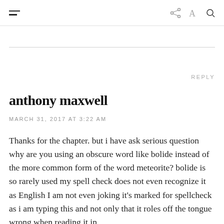≡  share font search
REPLY
anthony maxwell
MARCH 31, 2017 AT 3:22 AM
Thanks for the chapter. but i have ask serious question why are you using an obscure word like bolide instead of the more common form of the word meteorite? bolide is so rarely used my spell check does not even recognize it as English I am not even joking it's marked for spellcheck as i am typing this and not only that it roles off the tongue wrong when reading it in